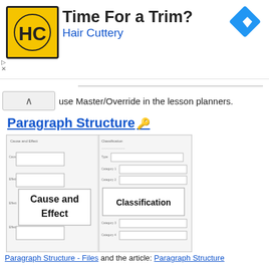[Figure (other): Advertisement banner for Hair Cuttery: yellow/black HC logo, 'Time For a Trim?' headline, 'Hair Cuttery' subtitle in blue, blue diamond navigation icon top right]
use Master/Override in the lesson planners.
Paragraph Structure 🔑
[Figure (illustration): Two graphic organizer thumbnails side by side: left shows 'Cause and Effect' template with labeled boxes; right shows 'Classification' template with labeled boxes]
Paragraph Structure - Files and the article: Paragraph Structure